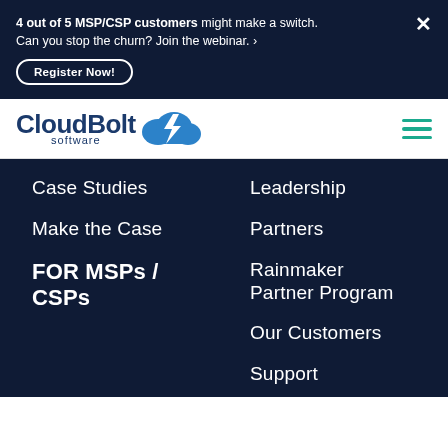4 out of 5 MSP/CSP customers might make a switch. Can you stop the churn? Join the webinar. › Register Now!
[Figure (logo): CloudBolt Software logo with cloud and lightning bolt icon]
Case Studies
Make the Case
FOR MSPs / CSPs
Leadership
Partners
Rainmaker Partner Program
Our Customers
Support
Careers
News
Events
Contact Us